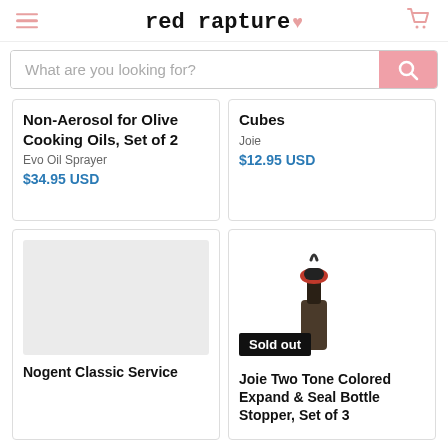red rapture ♥
What are you looking for?
Non-Aerosol for Olive Cooking Oils, Set of 2
Evo Oil Sprayer
$34.95 USD
Cubes
Joie
$12.95 USD
[Figure (photo): Gray placeholder image for product]
Nogent Classic Service
[Figure (photo): Wine bottle stopper with black and red colored top, sold out badge overlay]
Joie Two Tone Colored Expand & Seal Bottle Stopper, Set of 3